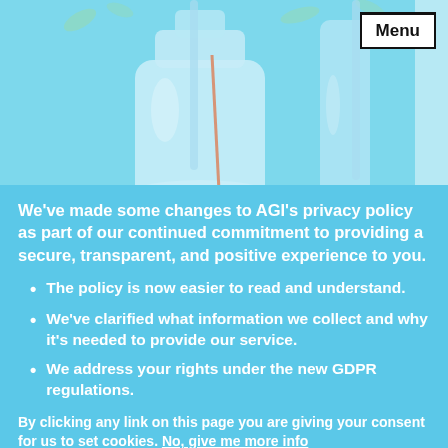[Figure (illustration): Illustration of laboratory glass bottles/flasks with straws on a light blue/teal background]
[Figure (screenshot): Menu button in top-right corner, white background with black border and text 'Menu']
We've made some changes to AGI's privacy policy as part of our continued commitment to providing a secure, transparent, and positive experience to you.
The policy is now easier to read and understand.
We've clarified what information we collect and why it's needed to provide our service.
We address your rights under the new GDPR regulations.
By clicking any link on this page you are giving your consent for us to set cookies. No, give me more info
OK, I agree